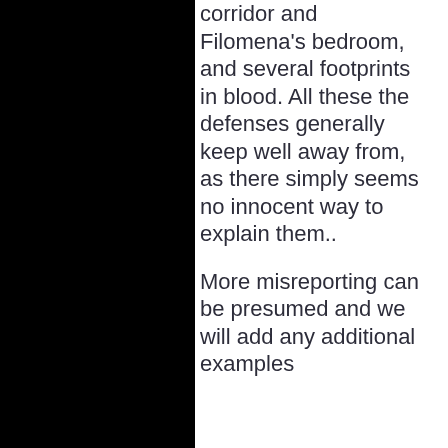corridor and Filomena's bedroom, and several footprints in blood. All these the defenses generally keep well away from, as there simply seems no innocent way to explain them..
More misreporting can be presumed and we will add any additional examples